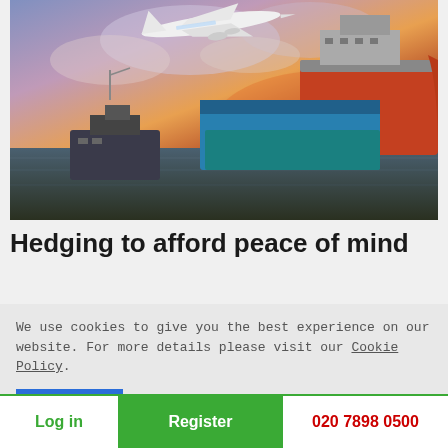[Figure (photo): Aerial/harbor scene with a commercial airplane flying over a harbor with large cargo ships including a prominent red-hulled vessel, dramatic cloudy sunset sky]
Hedging to afford peace of mind
We use cookies to give you the best experience on our website. For more details please visit our Cookie Policy.
Accept
Log in   Register   020 7898 0500